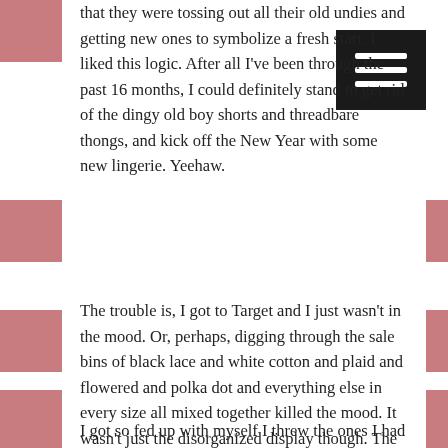that they were tossing out all their old undies and getting new ones to symbolize a fresh start. I liked this logic. After all I've been through the past 16 months, I could definitely stand to get rid of the dingy old boy shorts and threadbare thongs, and kick off the New Year with some new lingerie. Yeehaw.
The trouble is, I got to Target and I just wasn't in the mood. Or, perhaps, digging through the sale bins of black lace and white cotton and plaid and flowered and polka dot and everything else in every size all mixed together killed the mood. It wasn't just the disorganized display though. The prospect of buying underwear made me contemplate my future. Will anyone ever see me in these? Will there be new love on the horizon? How can I even meet a man when I live in such an unpopulated place? And anyway, does the style or color of underwear really even matter in the scheme of life? Even if these new ones are marked down to as little as $2 a pair, do I really need to throw out the old ones which are perfectly fine?
I got so fed up with myself I threw the ones I had already